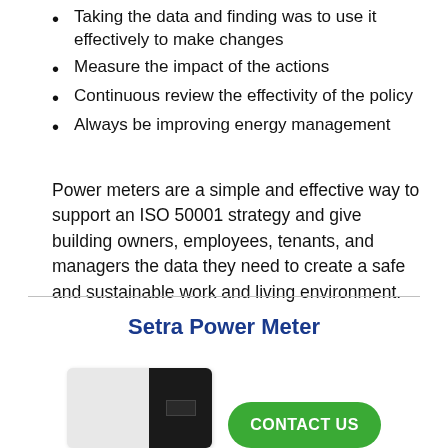Taking the data and finding was to use it effectively to make changes
Measure the impact of the actions
Continuous review the effectivity of the policy
Always be improving energy management
Power meters are a simple and effective way to support an ISO 50001 strategy and give building owners, employees, tenants, and managers the data they need to create a safe and sustainable work and living environment.
Setra Power Meter
[Figure (photo): Photo of Setra Power Meter device, white and black rectangular unit]
CONTACT US